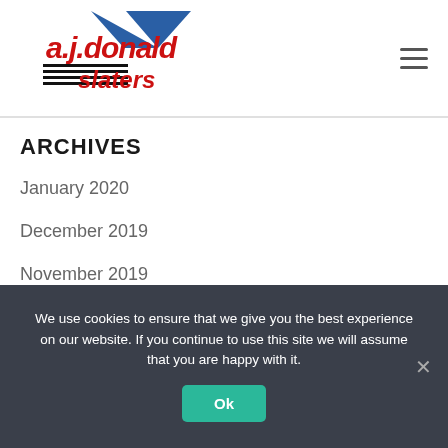[Figure (logo): A.J. Donald Slaters logo with blue roof/triangle shape, red bold text 'a.j.donald' and red text 'slaters' with horizontal lines beneath]
ARCHIVES
January 2020
December 2019
November 2019
October 2019
We use cookies to ensure that we give you the best experience on our website. If you continue to use this site we will assume that you are happy with it.